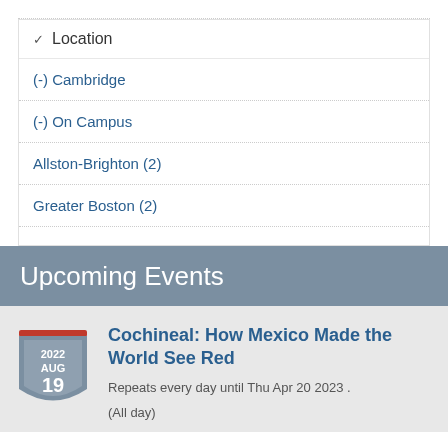Location
(-) Cambridge
(-) On Campus
Allston-Brighton (2)
Greater Boston (2)
Upcoming Events
[Figure (other): Calendar badge showing 2022 AUG 19 in a shield shape with red top bar]
Cochineal: How Mexico Made the World See Red
Repeats every day until Thu Apr 20 2023 .
(All day)